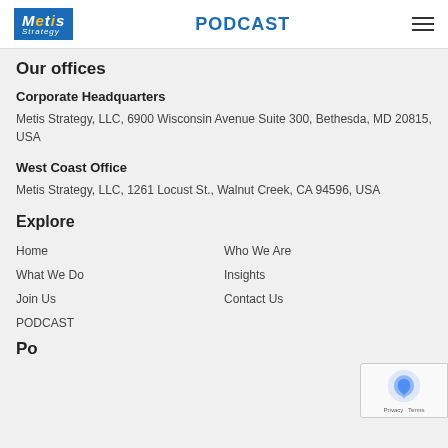Metis Strategy | PODCAST
Our offices
Corporate Headquarters
Metis Strategy, LLC, 6900 Wisconsin Avenue Suite 300, Bethesda, MD 20815, USA
West Coast Office
Metis Strategy, LLC, 1261 Locust St., Walnut Creek, CA 94596, USA
Explore
Home
Who We Are
What We Do
Insights
Join Us
Contact Us
PODCAST